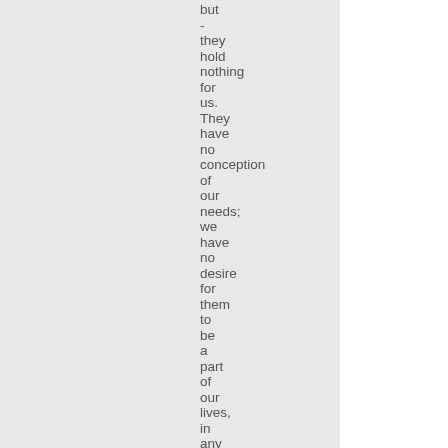but - they hold nothing for us. They have no conception of our needs; we have no desire for them to be a part of our lives, in any way) but we do